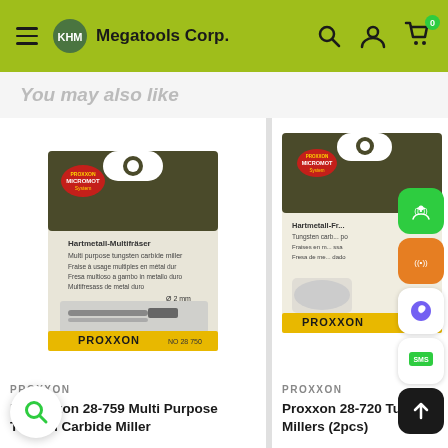KHM Megatools Corp.
You may also like
[Figure (photo): Proxxon 28-759 Multi Purpose Tungsten Carbide Miller product packaging on white card background. Shows drill bit with text in multiple languages. Model NO 28 750, diameter 2mm.]
PROXXON
Proxxon 28-759 Multi Purpose Tungsten Carbide Miller
[Figure (photo): Proxxon 28-720 Tungsten Carbide Millers (2pcs) product packaging, partially visible on right side of screen.]
PROXXON
Proxxon 28-720 Tungsten Carbide Millers (2pcs)